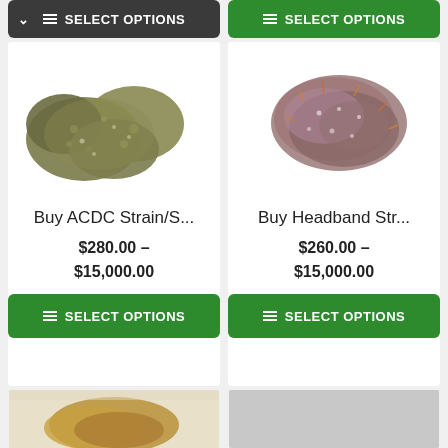[Figure (screenshot): E-commerce product listing page showing cannabis strain products in a two-column grid layout with product images, names, prices, and SELECT OPTIONS buttons]
SELECT OPTIONS
SELECT OPTIONS
[Figure (photo): Photo of ACDC cannabis strain buds on white background]
[Figure (photo): Photo of Headband cannabis strain bud on white background]
Buy ACDC Strain/S...
Buy Headband Str...
$280.00 – $15,000.00
$260.00 – $15,000.00
SELECT OPTIONS
SELECT OPTIONS
[Figure (photo): Bottom partial photo of a cannabis product (golden/brown color) on white background]
[Figure (photo): Bottom partial photo showing light gray/white background, product not fully visible]